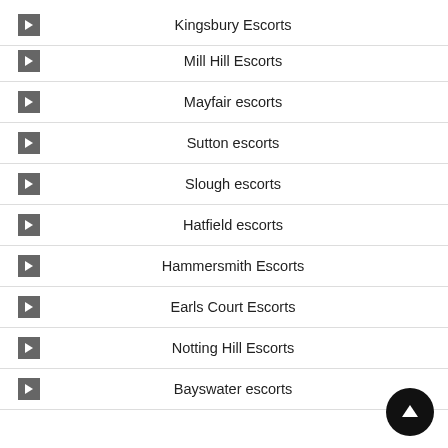Kingsbury Escorts
Mill Hill Escorts
Mayfair escorts
Sutton escorts
Slough escorts
Hatfield escorts
Hammersmith Escorts
Earls Court Escorts
Notting Hill Escorts
Bayswater escorts